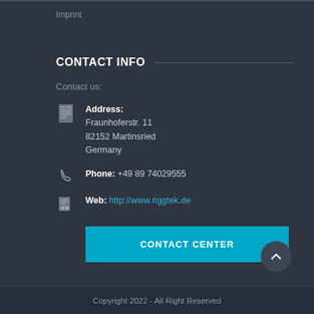Imprint
CONTACT INFO
Contact us:
Address: Fraunhoferstr. 11 82152 Martinsried Germany
Phone: +49 89 74029555
Web: http://www.riggtek.de
CONTACT CENTER
Copyright 2022 - All Right Reserved